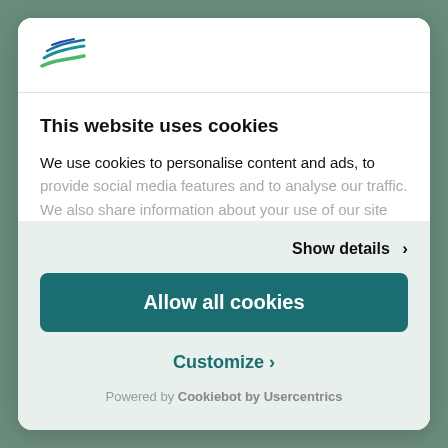[Figure (logo): Stylized bird/wing logo with blue and green streaks]
This website uses cookies
We use cookies to personalise content and ads, to provide social media features and to analyse our traffic. We also share information about your use of our site
Show details >
Allow all cookies
Customize >
Powered by Cookiebot by Usercentrics